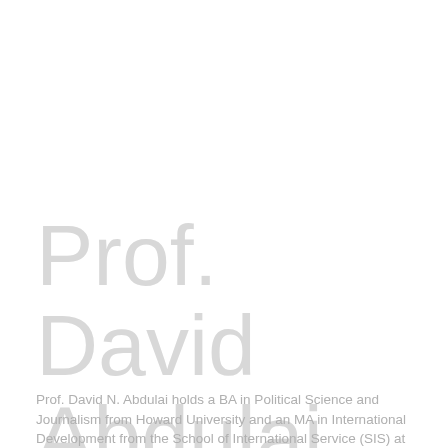Prof. David Abdulai
Prof. David N. Abdulai holds a BA in Political Science and Journalism from Howard University and an MA in International Development from the School of International Service (SIS) at American University in Washington, D.C. His Ph.D. (Distinction) is